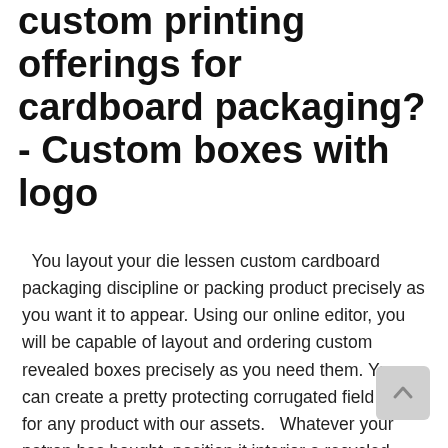custom printing offerings for cardboard packaging? - Custom boxes with logo
You layout your die lessen custom cardboard packaging discipline or packing product precisely as you want it to appear. Using our online editor, you will be capable of layout and ordering custom revealed boxes precisely as you need them. You can create a pretty protecting corrugated field layout for any product with our assets.   Whatever your patron has bought, position it interior a recycled paper bag alongside your brand on it, and turn them right into taking walks billboard as they cross approximately your day. With growing producers based entirely online for shoppers,